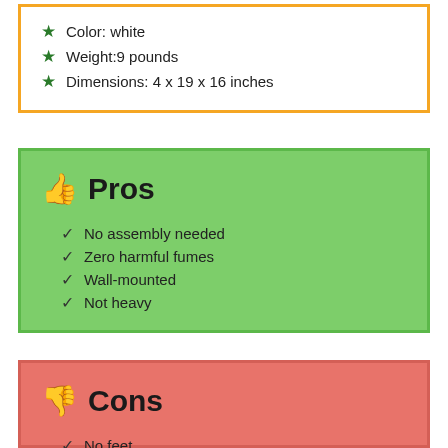Color: white
Weight:9 pounds
Dimensions: 4 x 19 x 16 inches
Pros
No assembly needed
Zero harmful fumes
Wall-mounted
Not heavy
Cons
No feet